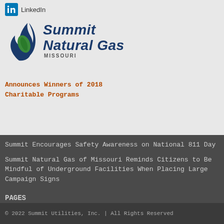[Figure (logo): Summit Natural Gas of Missouri logo with LinkedIn icon above]
Announces Winners of 2018 Charitable Programs
Summit Encourages Safety Awareness on National 811 Day
Summit Natural Gas of Missouri Reminds Citizens to Be Mindful of Underground Facilities When Placing Large Campaign Signs
PAGES
Careers
FAQs
Privacy Policy
Terms Of Use
Pay My Bill
Contact Us
© 2022 Summit Utilities, Inc. | All Rights Reserved